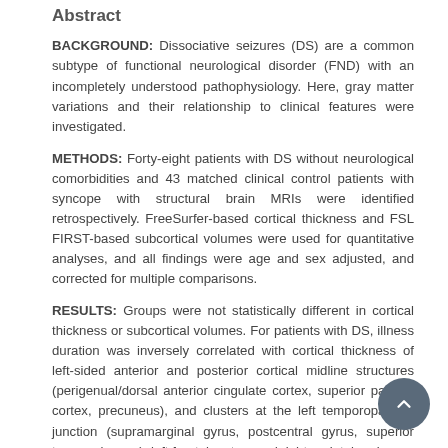Abstract
BACKGROUND: Dissociative seizures (DS) are a common subtype of functional neurological disorder (FND) with an incompletely understood pathophysiology. Here, gray matter variations and their relationship to clinical features were investigated.
METHODS: Forty-eight patients with DS without neurological comorbidities and 43 matched clinical control patients with syncope with structural brain MRIs were identified retrospectively. FreeSurfer-based cortical thickness and FSL FIRST-based subcortical volumes were used for quantitative analyses, and all findings were age and sex adjusted, and corrected for multiple comparisons.
RESULTS: Groups were not statistically different in cortical thickness or subcortical volumes. For patients with DS, illness duration was inversely correlated with cortical thickness of left-sided anterior and posterior cortical midline structures (perigenual/dorsal anterior cingulate cortex, superior parietal cortex, precuneus), and clusters at the left temporoparietal junction (supramarginal gyrus, postcentral gyrus, superior temporal gyrus), left frontal cortex, and right parietal region